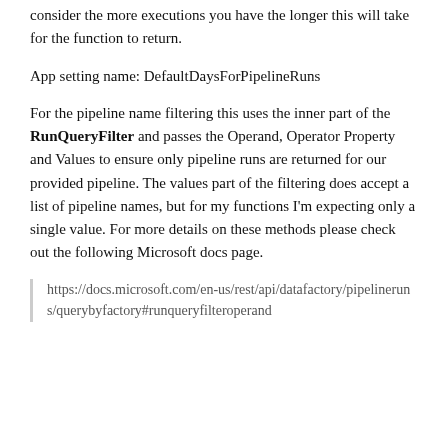consider the more executions you have the longer this will take for the function to return.
App setting name: DefaultDaysForPipelineRuns
For the pipeline name filtering this uses the inner part of the RunQueryFilter and passes the Operand, Operator Property and Values to ensure only pipeline runs are returned for our provided pipeline. The values part of the filtering does accept a list of pipeline names, but for my functions I'm expecting only a single value. For more details on these methods please check out the following Microsoft docs page.
https://docs.microsoft.com/en-us/rest/api/datafactory/pipelineruns/querybyfactory#runqueryfilteroperand